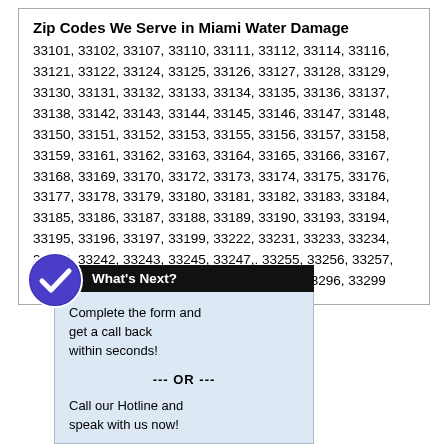Zip Codes We Serve in Miami Water Damage
33101, 33102, 33107, 33110, 33111, 33112, 33114, 33116, 33121, 33122, 33124, 33125, 33126, 33127, 33128, 33129, 33130, 33131, 33132, 33133, 33134, 33135, 33136, 33137, 33138, 33142, 33143, 33144, 33145, 33146, 33147, 33148, 33150, 33151, 33152, 33153, 33155, 33156, 33157, 33158, 33159, 33161, 33162, 33163, 33164, 33165, 33166, 33167, 33168, 33169, 33170, 33172, 33173, 33174, 33175, 33176, 33177, 33178, 33179, 33180, 33181, 33182, 33183, 33184, 33185, 33186, 33187, 33188, 33189, 33190, 33193, 33194, 33195, 33196, 33197, 33199, 33222, 33231, 33233, 33234, 33238, 33242, 33243, 33245, 33247,. 33255, 33256, 33257, 33261, 33265, 33266, 33269, 33280, 33283, 33296, 33299
What's Next?
Complete the form and get a call back within seconds!
--- OR ---
Call our Hotline and speak with us now!